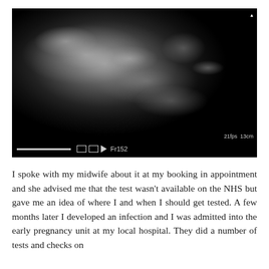[Figure (photo): Ultrasound scan image showing a fetus in black and white grayscale. The bottom bar is black and shows a scale line, two small square icons, an arrow icon, and the text 'Fr152'. Top right shows small white text.]
I spoke with my midwife about it at my booking in appointment and she advised me that the test wasn't available on the NHS but gave me an idea of where I and when I should get tested. A few months later I developed an infection and I was admitted into the early pregnancy unit at my local hospital. They did a number of tests and checks on